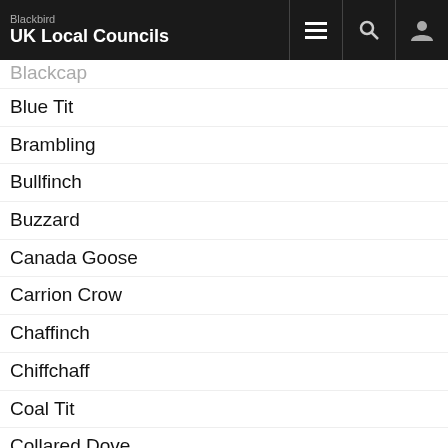Blackbird
UK Local Councils
Blackcap
Blue Tit
Brambling
Bullfinch
Buzzard
Canada Goose
Carrion Crow
Chaffinch
Chiffchaff
Coal Tit
Collared Dove
Dunnock
Fieldfare
Goldcrest
Goldfinch
Great Spotted Woodpecker
Great Tit
Green Woodpecker
Greenfinch
Grey Heron